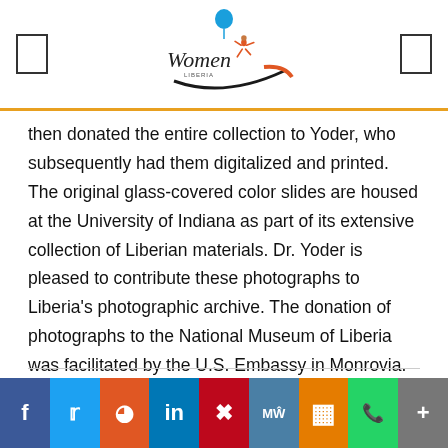Women [logo]
then donated the entire collection to Yoder, who subsequently had them digitalized and printed. The original glass-covered color slides are housed at the University of Indiana as part of its extensive collection of Liberian materials. Dr. Yoder is pleased to contribute these photographs to Liberia's photographic archive. The donation of photographs to the National Museum of Liberia was facilitated by the U.S. Embassy in Monrovia.
Social share bar: Facebook, Twitter, Reddit, LinkedIn, Pinterest, MeWe, Mix, WhatsApp, More